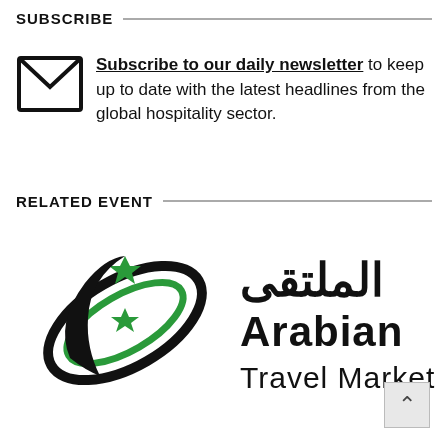SUBSCRIBE
Subscribe to our daily newsletter to keep up to date with the latest headlines from the global hospitality sector.
RELATED EVENT
[Figure (logo): Arabian Travel Market logo with green orbital/globe graphic and Arabic text alongside English text reading 'Arabian Travel Market']